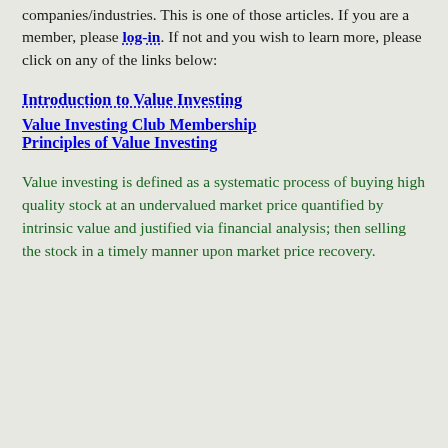companies/industries. This is one of those articles. If you are a member, please log-in. If not and you wish to learn more, please click on any of the links below:
Introduction to Value Investing
Value Investing Club Membership
Principles of Value Investing
Value investing is defined as a systematic process of buying high quality stock at an undervalued market price quantified by intrinsic value and justified via financial analysis; then selling the stock in a timely manner upon market price recovery.